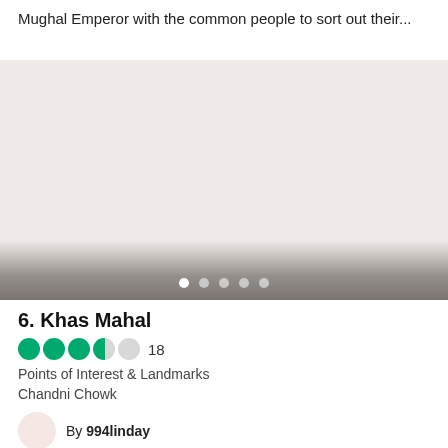Mughal Emperor with the common people to sort out their...
[Figure (photo): A large image placeholder area with a pinkish-beige background, representing a photo of Khas Mahal. Navigation dots visible at bottom.]
6. Khas Mahal
4 out of 5 circles rating, 18 reviews
Points of Interest & Landmarks
Chandni Chowk
By 994linday